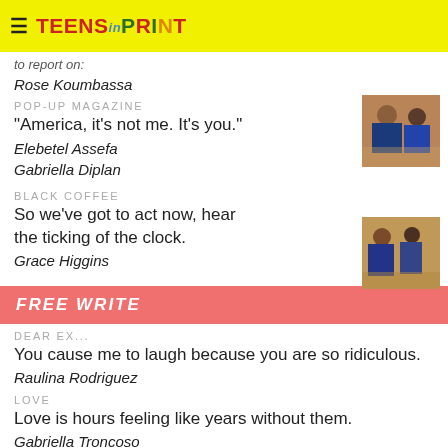≡ TEENS in PRINT
to report on:
Rose Koumbassa
POP-UP MAGAZINE
"America, it's not me. It's you."
Elebetel Assefa
Gabriella Diplan
[Figure (photo): Photo of students at an event]
BLACK COFFEE
So we've got to act now, hear the ticking of the clock.
Grace Higgins
[Figure (photo): Photo of students at an event]
FREE WRITE
DEAR EX...
You cause me to laugh because you are so ridiculous.
Raulina Rodriguez
LOVE
Love is hours feeling like years without them.
Gabriella Troncoso